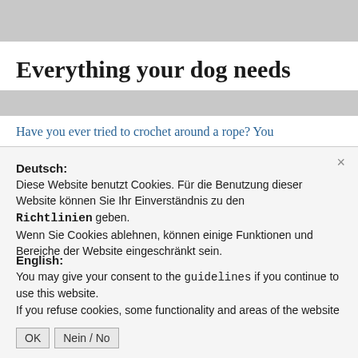Everything your dog needs
Have you ever tried to crochet around a rope? You
Deutsch:
Diese Website benutzt Cookies. Für die Benutzung dieser Website können Sie Ihr Einverständnis zu den Richtlinien geben.
Wenn Sie Cookies ablehnen, können einige Funktionen und Bereiche der Website eingeschränkt sein.
English:
You may give your consent to the guidelines if you continue to use this website.
If you refuse cookies, some functionality and areas of the website may be restricted.
OK   Nein / No